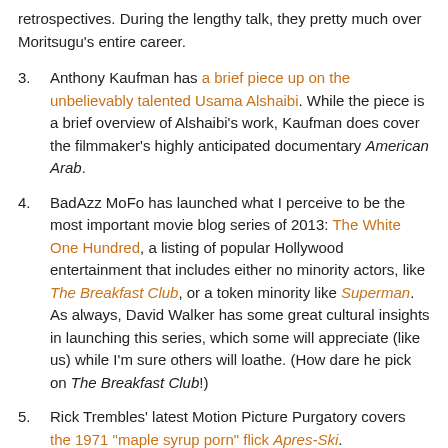retrospectives. During the lengthy talk, they pretty much over Moritsugu’s entire career.
3. Anthony Kaufman has a brief piece up on the unbelievably talented Usama Alshaibi. While the piece is a brief overview of Alshaibi’s work, Kaufman does cover the filmmaker’s highly anticipated documentary American Arab.
4. BadAzz MoFo has launched what I perceive to be the most important movie blog series of 2013: The White One Hundred, a listing of popular Hollywood entertainment that includes either no minority actors, like The Breakfast Club, or a token minority like Superman. As always, David Walker has some great cultural insights in launching this series, which some will appreciate (like us) while I’m sure others will loathe. (How dare he pick on The Breakfast Club!)
5. Rick Trembles’ latest Motion Picture Purgatory covers the 1971 “maple syrup porn” flick Apres-Ski.